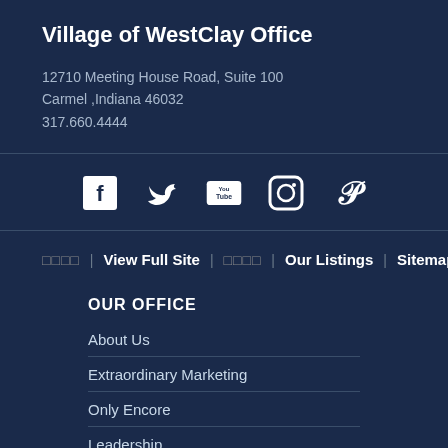Village of WestClay Office
12710 Meeting House Road, Suite 100
Carmel ,Indiana 46032
317.660.4444
[Figure (infographic): Social media icons row: Facebook, Twitter, YouTube, Instagram, Pinterest]
□□□□ | View Full Site | □□□□ | Our Listings | Sitemap
OUR OFFICE
About Us
Extraordinary Marketing
Only Encore
Leadership